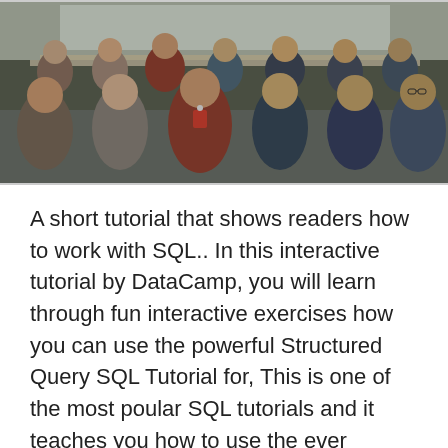[Figure (photo): A group photo of students/participants in a classroom setting, sitting in rows, some wearing lanyards/ID badges.]
A short tutorial that shows readers how to work with SQL.. In this interactive tutorial by DataCamp, you will learn through fun interactive exercises how you can use the powerful Structured Query SQL Tutorial for, This is one of the most poular SQL tutorials and it teaches you how to use the ever popular SQL language to analyse Exercises 2. SQL Data Types & Operators. SQL.
[Figure (illustration): Bottom teal/turquoise colored graphic with circular dashed lines and white circular icons, partially visible.]